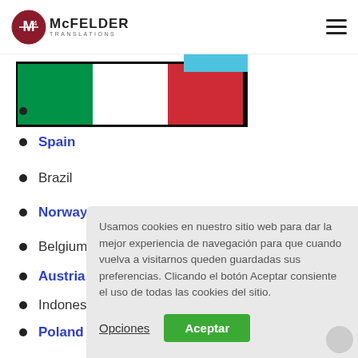McFELDER TRANSLATIONS
[Figure (illustration): Italian flag partially visible with a blue element beside it]
Spain
Brazil
Norway
Belgium
Austria
Indonesia
Poland
South Africa
Canada
Usamos cookies en nuestro sitio web para dar la mejor experiencia de navegación para que cuando vuelva a visitarnos queden guardadas sus preferencias. Clicando el botón Aceptar consiente el uso de todas las cookies del sitio.
Opciones  Aceptar